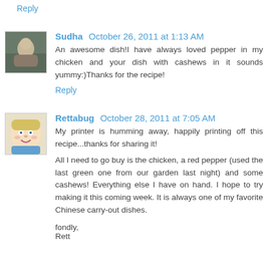Reply
Sudha  October 26, 2011 at 1:13 AM
An awesome dish!I have always loved pepper in my chicken and your dish with cashews in it sounds yummy:)Thanks for the recipe!
Reply
Rettabug  October 28, 2011 at 7:05 AM
My printer is humming away, happily printing off this recipe...thanks for sharing it!
All I need to go buy is the chicken, a red pepper (used the last green one from our garden last night) and some cashews! Everything else I have on hand. I hope to try making it this coming week. It is always one of my favorite Chinese carry-out dishes.
fondly,
Rett